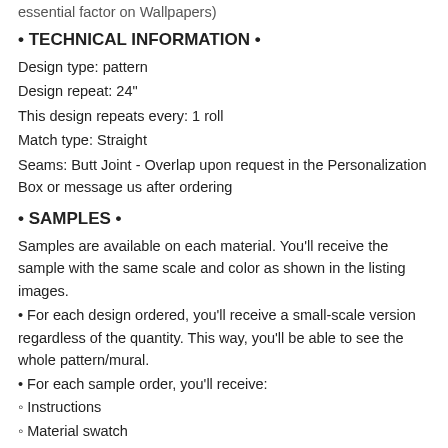essential factor on Wallpapers)
• TECHNICAL INFORMATION •
Design type: pattern
Design repeat: 24"
This design repeats every: 1 roll
Match type: Straight
Seams: Butt Joint - Overlap upon request in the Personalization Box or message us after ordering
• SAMPLES •
Samples are available on each material. You'll receive the sample with the same scale and color as shown in the listing images.
• For each design ordered, you'll receive a small-scale version regardless of the quantity. This way, you'll be able to see the whole pattern/mural.
• For each sample order, you'll receive:
◦ Instructions
◦ Material swatch
Notes: We have a sample limit policy of 4 samples per design